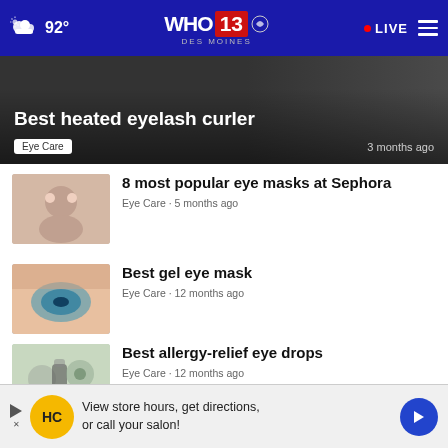WHO 13 Des Moines — 92° — LIVE
Best heated eyelash curler
Eye Care · 3 months ago
8 most popular eye masks at Sephora — Eye Care · 5 months ago
Best gel eye mask — Eye Care · 12 months ago
Best allergy-relief eye drops — Eye Care · 12 months ago
The best eye drops for red eyes — Eye Care · 3 weeks ago
View store hours, get directions, or call your salon!